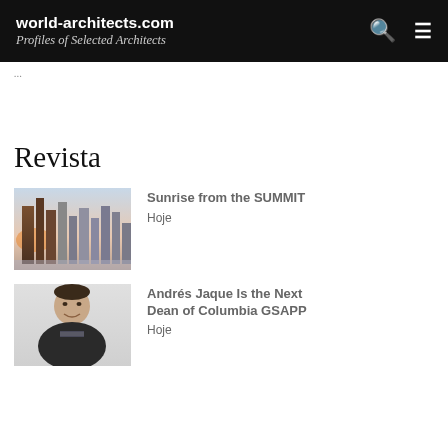world-architects.com
Profiles of Selected Architects
... ... ...
Revista
[Figure (photo): City skyline at sunrise with tall skyscrapers against a pink and blue sky]
Sunrise from the SUMMIT
Hoje
[Figure (photo): Portrait of a man in a black sweater with a patterned collar, smiling]
Andrés Jaque Is the Next Dean of Columbia GSAPP
Hoje